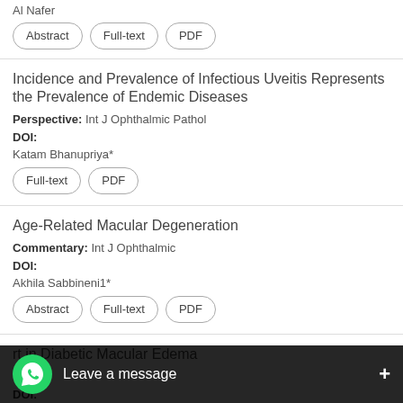AI Nafer
Abstract | Full-text | PDF
Incidence and Prevalence of Infectious Uveitis Represents the Prevalence of Endemic Diseases
Perspective: Int J Ophthalmic Pathol
DOI:
Katam Bhanupriya*
Full-text | PDF
Age-Related Macular Degeneration
Commentary: Int J Ophthalmic
DOI:
Akhila Sabbineni1*
Abstract | Full-text | PDF
…rt in Diabetic Macular Edema
…Pathol
DOI:
Navy…